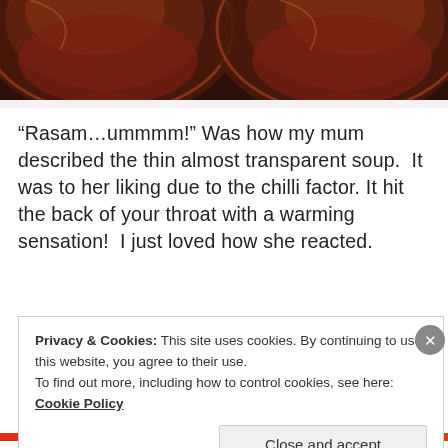[Figure (photo): Top portion of photo showing copper/bronze bowls with reddish-brown soup (rasam), dark moody lighting]
“Rasam…ummmm!” Was how my mum described the thin almost transparent soup.  It was to her liking due to the chilli factor. It hit the back of your throat with a warming sensation!  I just loved how she reacted.
My siro, a sweet semolina pudding had started to
Privacy & Cookies: This site uses cookies. By continuing to use this website, you agree to their use.
To find out more, including how to control cookies, see here: Cookie Policy
Close and accept